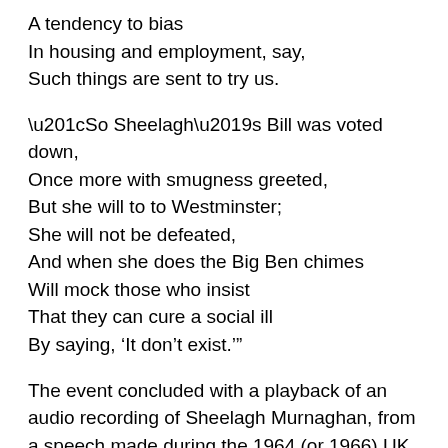A tendency to bias
In housing and employment, say,
Such things are sent to try us.
“So Sheelagh’s Bill was voted down,
Once more with smugness greeted,
But she will to to Westminster;
She will not be defeated,
And when she does the Big Ben chimes
Will mock those who insist
That they can cure a social ill
By saying, ‘It don’t exist.’”
The event concluded with a playback of an audio recording of Sheelagh Murnaghan, from a speech made during the 1964 (or 1966) UK General Election campaign (audio courtesy of BBC):
“This election is not about the constitution of